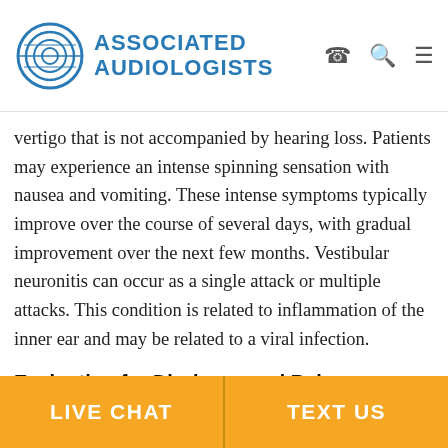ASSOCIATED AUDIOLOGISTS
vertigo that is not accompanied by hearing loss. Patients may experience an intense spinning sensation with nausea and vomiting. These intense symptoms typically improve over the course of several days, with gradual improvement over the next few months. Vestibular neuronitis can occur as a single attack or multiple attacks. This condition is related to inflammation of the inner ear and may be related to a viral infection.
Evaluation for Dizziness and Balance
Associated Audiologists offers comprehensive, state-of-the-art testing performed by an audiologist who specializes in vestibular disorders. Danielle Dorner, Au.D., is a skilled and
LIVE CHAT   TEXT US